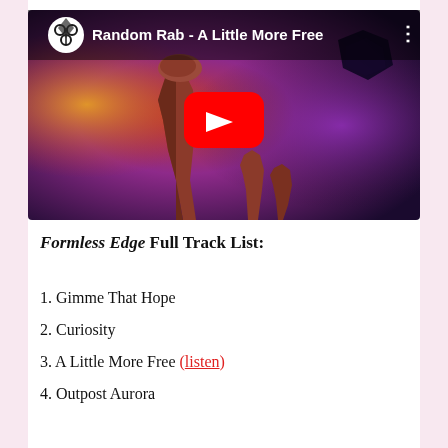[Figure (screenshot): YouTube video thumbnail for 'Random Rab - A Little More Free' showing a dramatic red rock formation against a purple/orange sky, with a YouTube play button overlay and the Random Rab logo in the top left corner]
Formless Edge Full Track List:
1. Gimme That Hope
2. Curiosity
3. A Little More Free (listen)
4. Outpost Aurora